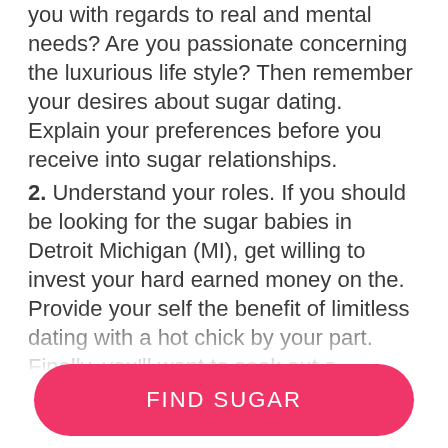you with regards to real and mental needs? Are you passionate concerning the luxurious life style? Then remember your desires about sugar dating. Explain your preferences before you receive into sugar relationships.
2. Understand your roles. If you should be looking for the sugar babies in Detroit Michigan (MI), get willing to invest your hard earned money on the. Provide your self the benefit of limitless dating with a hot chick by your part. Finally, you'll want to seek out a delighted, sexy, enjoyable, and mystical relationship where you've got the leverage expressing your self totally.
3. Re Search on the internet. The easiest way to cope with your loneliness could be the sugar babies in Detroit MI available on the internet. There are many
FIND SUGAR